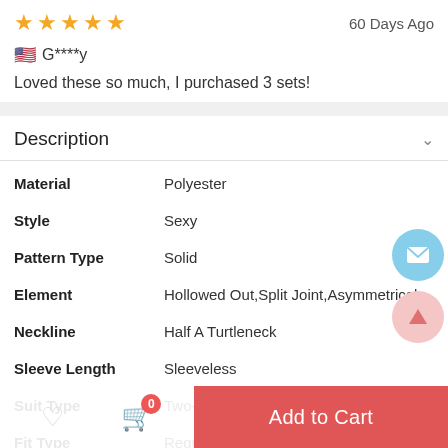★★★★★  60 Days Ago
🇺🇸 G****y
Loved these so much, I purchased 3 sets!
Description
| Property | Value |
| --- | --- |
| Material | Polyester |
| Style | Sexy |
| Pattern Type | Solid |
| Element | Hollowed Out,Split Joint,Asymmetrical |
| Neckline | Half A Turtleneck |
| Sleeve Length | Sleeveless |
| Suit Type | Two-pieces |
| Fit Type | Regular |
| Waist Type | High Waist |
Add to Cart